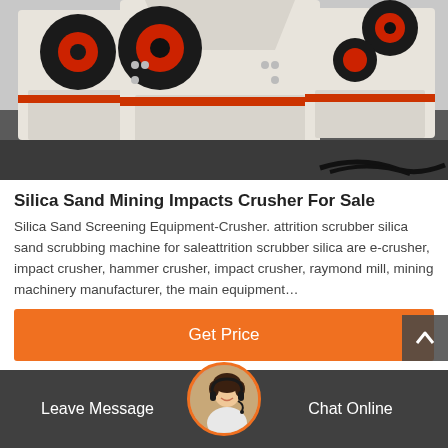[Figure (photo): Industrial impact crushers / mining machines in white and orange color, placed on dark floor in a warehouse or factory setting]
Silica Sand Mining Impacts Crusher For Sale
Silica Sand Screening Equipment-Crusher. attrition scrubber silica sand scrubbing machine for saleattrition scrubber silica are e-crusher, impact crusher, hammer crusher, impact crusher, raymond mill, mining machinery manufacturer, the main equipment…
[Figure (other): Orange 'Get Price' button]
[Figure (other): Bottom navigation bar with 'Leave Message' on left, customer service avatar in center, and 'Chat Online' on right]